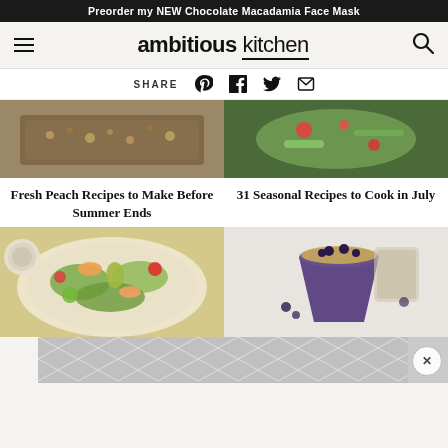Preorder my NEW Chocolate Macadamia Face Mask
[Figure (logo): Ambitious Kitchen logo with hamburger menu and search icon]
SHARE
[Figure (screenshot): Top row: two food photos - left: granola baking dish, right: salad with strawberries and greens]
Fresh Peach Recipes to Make Before Summer Ends
31 Seasonal Recipes to Cook in July
[Figure (photo): Bottom row left: colorful summer salad with avocado, peaches, greens on white plate with dressing]
[Figure (photo): Bottom row right: blueberry smoothie in large purple cup topped with granola and blueberries]
[Figure (other): Advertisement bar at bottom with geometric diamond pattern and close button]